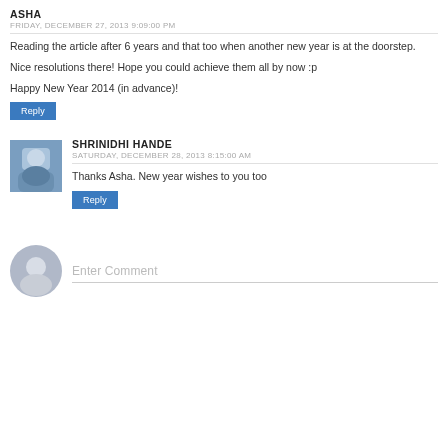ASHA
FRIDAY, DECEMBER 27, 2013 9:09:00 PM
Reading the article after 6 years and that too when another new year is at the doorstep.
Nice resolutions there! Hope you could achieve them all by now :p
Happy New Year 2014 (in advance)!
Reply
SHRINIDHI HANDE
SATURDAY, DECEMBER 28, 2013 8:15:00 AM
Thanks Asha. New year wishes to you too
Reply
Enter Comment